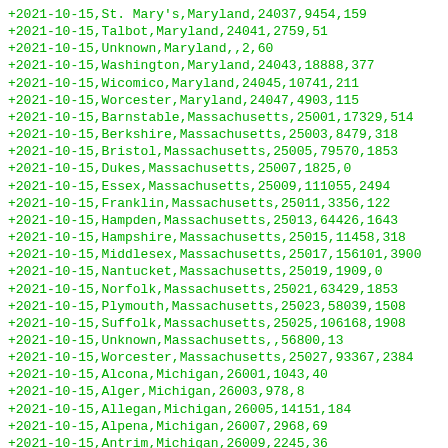+2021-10-15,St. Mary's,Maryland,24037,9454,159
+2021-10-15,Talbot,Maryland,24041,2759,51
+2021-10-15,Unknown,Maryland,,2,60
+2021-10-15,Washington,Maryland,24043,18888,377
+2021-10-15,Wicomico,Maryland,24045,10741,211
+2021-10-15,Worcester,Maryland,24047,4903,115
+2021-10-15,Barnstable,Massachusetts,25001,17329,514
+2021-10-15,Berkshire,Massachusetts,25003,8479,318
+2021-10-15,Bristol,Massachusetts,25005,79570,1853
+2021-10-15,Dukes,Massachusetts,25007,1825,0
+2021-10-15,Essex,Massachusetts,25009,111055,2494
+2021-10-15,Franklin,Massachusetts,25011,3356,122
+2021-10-15,Hampden,Massachusetts,25013,64426,1643
+2021-10-15,Hampshire,Massachusetts,25015,11458,318
+2021-10-15,Middlesex,Massachusetts,25017,156101,3900
+2021-10-15,Nantucket,Massachusetts,25019,1909,0
+2021-10-15,Norfolk,Massachusetts,25021,63429,1853
+2021-10-15,Plymouth,Massachusetts,25023,58039,1508
+2021-10-15,Suffolk,Massachusetts,25025,106168,1908
+2021-10-15,Unknown,Massachusetts,,56800,13
+2021-10-15,Worcester,Massachusetts,25027,93367,2384
+2021-10-15,Alcona,Michigan,26001,1043,40
+2021-10-15,Alger,Michigan,26003,978,8
+2021-10-15,Allegan,Michigan,26005,14151,184
+2021-10-15,Alpena,Michigan,26007,2968,69
+2021-10-15,Antrim,Michigan,26009,2245,36
+2021-10-15,Arenac,Michigan,26011,1671,33
+2021-10-15,Baraga,Michigan,26013,1248,46
+2021-10-15,Barry,Michigan,26015,7489,81
+2021-10-15,Bay,Michigan,26017,14201,379
+2021-10-15,Benzie,Michigan,26019,1592,38
+2021-10-15,Berrien,Michigan,26021,18802,328